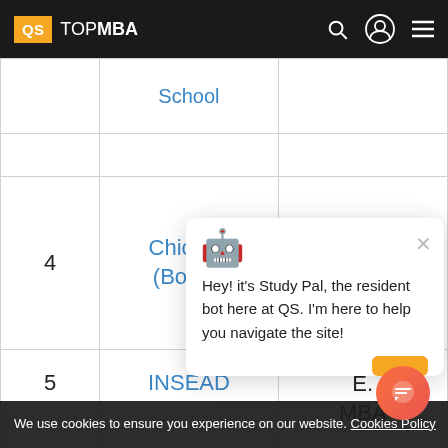QS TOP MBA
|  | School |  |
| --- | --- | --- |
| 4 | Chicago (Booth) | Execut MBA |
| 5 | INSEAD | E. MBA |
Hey! it's Study Pal, the resident bot here at QS. I'm here to help you navigate the site!
We use cookies to ensure you experience on our website. Cookies Policy